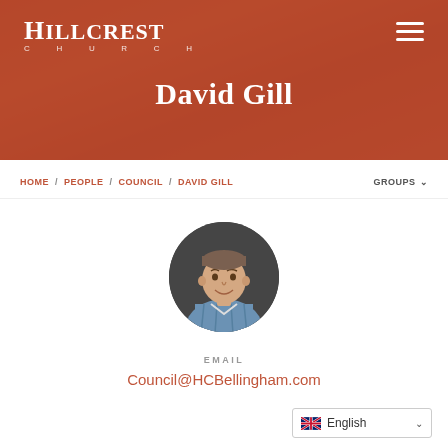[Figure (screenshot): Hillcrest Church website header banner with orange-red background showing crowd photo, site logo top-left, hamburger menu top-right, and page title 'David Gill' centered]
David Gill
HOME / PEOPLE / COUNCIL / DAVID GILL    GROUPS ▾
[Figure (photo): Circular profile photo of David Gill, a man in a blue plaid shirt, smiling, against a dark background]
EMAIL
Council@HCBellingham.com
English